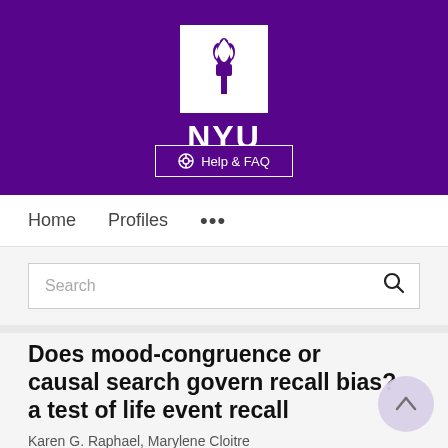[Figure (logo): NYU (New York University) logo: white torch icon on purple background with NYU wordmark below in white, set on a purple banner header]
[Figure (other): Help & FAQ button with globe/settings icon, white border on purple background]
Home   Profiles   ...
Search
Does mood-congruence or causal search govern recall bias? a test of life event recall
Karen G. Raphael, Marylene Cloitre